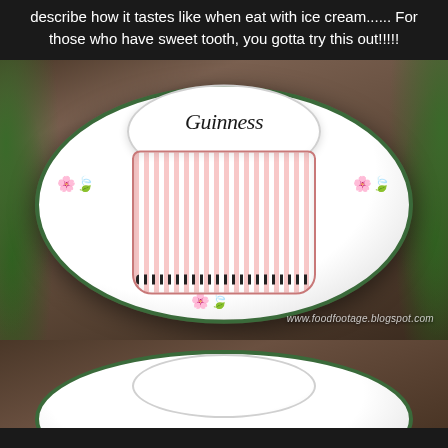describe how it tastes like when eat with ice cream...... For those who have sweet tooth, you gotta try this out!!!!!
[Figure (photo): A ceramic cup with pink vertical stripes and 'Guinness' written in script on the cream/white top surface, placed on a white plate with green border and colorful floral motifs. The plate sits on a wooden table with green plants in the background. Watermark: www.foodfootage.blogspot.com]
[Figure (photo): Partial view of a second similar plate and cup from below, showing the top edge of the plate with green border and another cup with white cream top.]